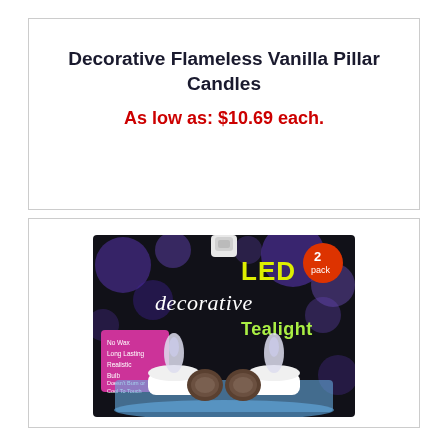Decorative Flameless Vanilla Pillar Candles
As low as: $10.69 each.
[Figure (photo): LED decorative Tealight 2-pack product packaging. Black background with purple bokeh circles. Shows two white LED tealight candles with translucent flame-shaped tops, two coin batteries, and a pink label listing features: No Wax, Long Lasting, Realistic Bulb, Doesn't Burn or Cool to Touch.]